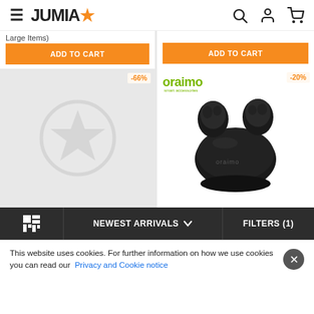JUMIA
Large Items)
ADD TO CART
ADD TO CART
[Figure (screenshot): Left product card with -66% discount badge and Jumia watermark star placeholder image on grey background]
[Figure (photo): Oraimo earbuds in black charging case, with oraimo smart accessories logo, -20% badge]
NEWEST ARRIVALS  FILTERS (1)
This website uses cookies. For further information on how we use cookies you can read our Privacy and Cookie notice